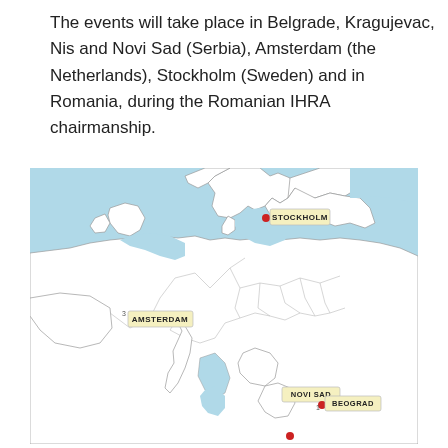The events will take place in Belgrade, Kragujevac, Nis and Novi Sad (Serbia), Amsterdam (the Netherlands), Stockholm (Sweden) and in Romania, during the Romanian IHRA chairmanship.
[Figure (map): Map of Europe showing event locations marked with red dots and labels: Stockholm (Sweden), Amsterdam (the Netherlands), Novi Sad and Beograd (Serbia). The map shows country outlines with water bodies in blue.]